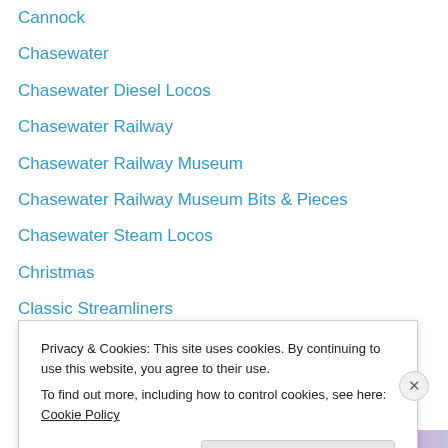Cannock
Chasewater
Chasewater Diesel Locos
Chasewater Railway
Chasewater Railway Museum
Chasewater Railway Museum Bits & Pieces
Chasewater Steam Locos
Christmas
Classic Streamliners
Events
Foreign Lines
Hednesford
Industrial Steam Loco Manufacturers
Lichfield
Privacy & Cookies: This site uses cookies. By continuing to use this website, you agree to their use.
To find out more, including how to control cookies, see here: Cookie Policy
Close and accept